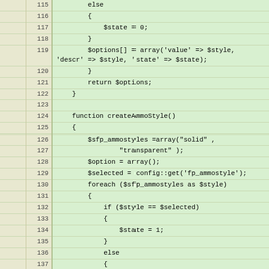[Figure (screenshot): Source code viewer showing PHP code lines 115-145, with line number columns and green-tinted code background. Shows functions including createAmmoStyle() and the beginning of createSelectBanner().]